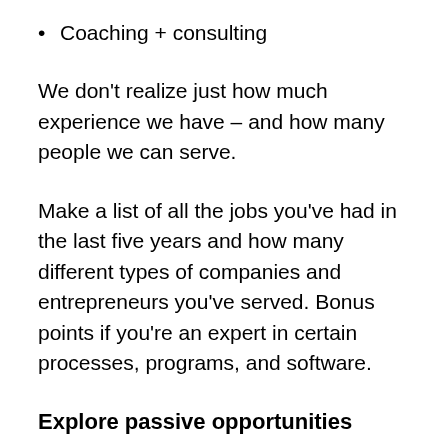Coaching + consulting
We don’t realize just how much experience we have – and how many people we can serve.
Make a list of all the jobs you’ve had in the last five years and how many different types of companies and entrepreneurs you’ve served. Bonus points if you’re an expert in certain processes, programs, and software.
Explore passive opportunities
Once you have that list of skills, it’s time to get to